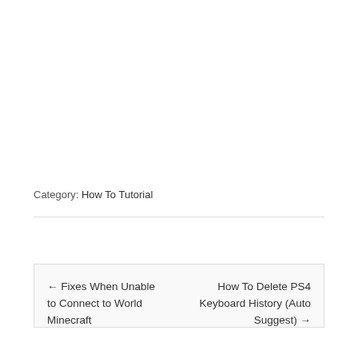Category: How To Tutorial
← Fixes When Unable to Connect to World Minecraft
How To Delete PS4 Keyboard History (Auto Suggest) →